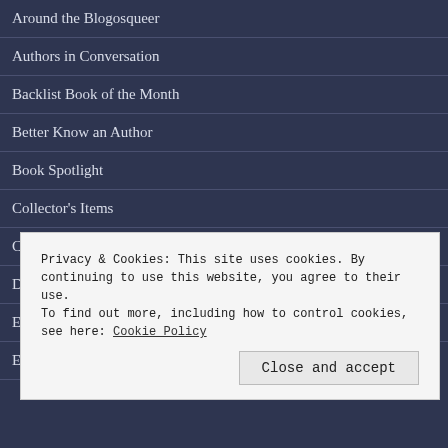Around the Blogosqueer
Authors in Conversation
Backlist Book of the Month
Better Know an Author
Book Spotlight
Collector's Items
Cover Reveal
Deal Announcements
Excerpt
Privacy & Cookies: This site uses cookies. By continuing to use this website, you agree to their use.
To find out more, including how to control cookies, see here: Cookie Policy
Close and accept